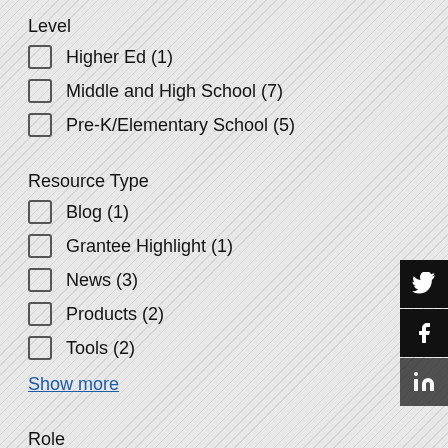Level
Higher Ed (1)
Middle and High School (7)
Pre-K/Elementary School (5)
Resource Type
Blog (1)
Grantee Highlight (1)
News (3)
Products (2)
Tools (2)
Show more
Role
Community (1)